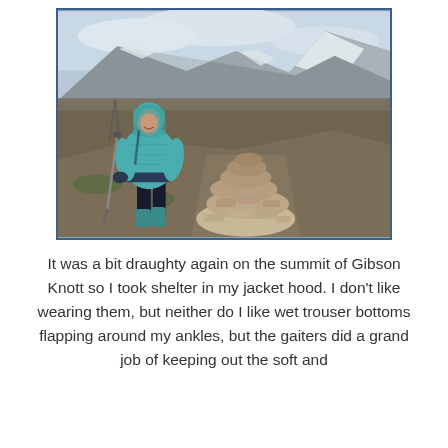[Figure (photo): A hiker in a teal/turquoise down jacket with hood up stands next to a large stone cairn on the snow-dusted summit of Gibson Knott. Snow-covered mountains are visible in the background under a cloudy sky. Trekking poles are visible to the left.]
It was a bit draughty again on the summit of Gibson Knott so I took shelter in my jacket hood. I don't like wearing them, but neither do I like wet trouser bottoms flapping around my ankles, but the gaiters did a grand job of keeping out the soft and